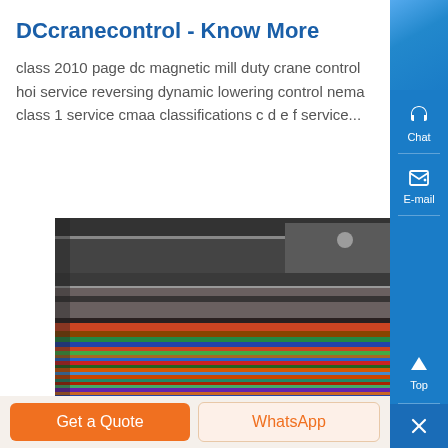DCcranecontrol - Know More
class 2010 page dc magnetic mill duty crane control hoi service reversing dynamic lowering control nema class 1 service cmaa classifications c d e f service...
[Figure (photo): Industrial crane or mill machinery photo showing colorful wiring/cables and metal structural components from an overhead angle]
Get a Quote
WhatsApp